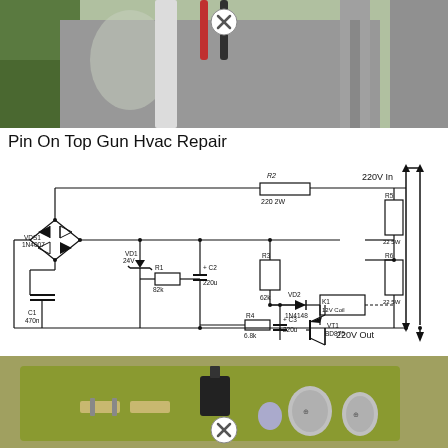[Figure (photo): Photo of HVAC wiring/components at top, with a close/remove circle icon overlay]
Pin On Top Gun Hvac Repair
[Figure (circuit-diagram): Electronic circuit schematic showing 220V AC input with bridge rectifier VDS1 (1N4007), capacitor C1 (470n), zener diode VD1 (24V), resistor R1 (82k), capacitor C2 (220u), resistor R2 (220 2W), resistor R3 (62k), diode VD2 (1N4148), relay K1 (12V Coil), transistor VT1 (BD875), capacitor C3 (220u), resistor R4 (6.8k), resistors R5 and R6 (22 5W each), and 220V output]
[Figure (photo): Photo of a green PCB circuit board with components including transistor, capacitors, and resistors, with a close/remove circle icon overlay]